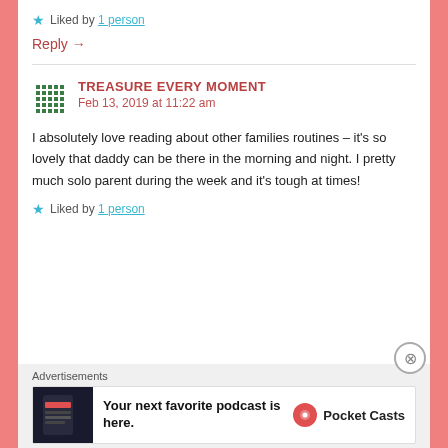Liked by 1 person
Reply →
TREASURE EVERY MOMENT
Feb 13, 2019 at 11:22 am
I absolutely love reading about other families routines – it's so lovely that daddy can be there in the morning and night. I pretty much solo parent during the week and it's tough at times!
Liked by 1 person
Advertisements
[Figure (infographic): Pocket Casts podcast app advertisement banner with dark phone screenshot and logo]